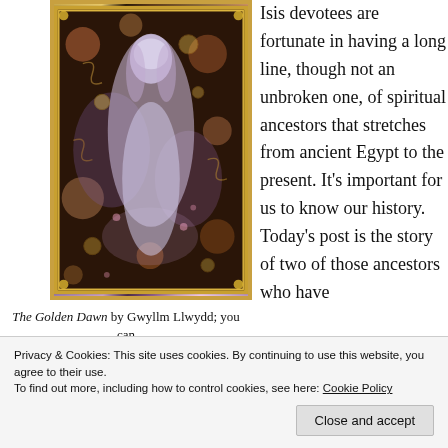[Figure (illustration): The Golden Dawn artwork by Gwyllm Llwydd — an Art Nouveau-style illustration showing a glowing feminine figure surrounded by ornate floral and cosmic patterns, framed with a gold border.]
The Golden Dawn by Gwyllm Llwydd; you can
Isis devotees are fortunate in having a long line, though not an unbroken one, of spiritual ancestors that stretches from ancient Egypt to the present. It's important for us to know our history. Today's post is the story of two of those ancestors who have
Privacy & Cookies: This site uses cookies. By continuing to use this website, you agree to their use.
To find out more, including how to control cookies, see here: Cookie Policy
Follow